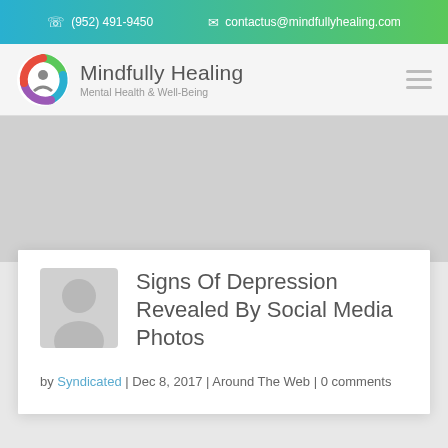(952) 491-9450   contactus@mindfullyhealing.com
Mindfully Healing — Mental Health & Well-Being
Signs Of Depression Revealed By Social Media Photos
by Syndicated | Dec 8, 2017 | Around The Web | 0 comments